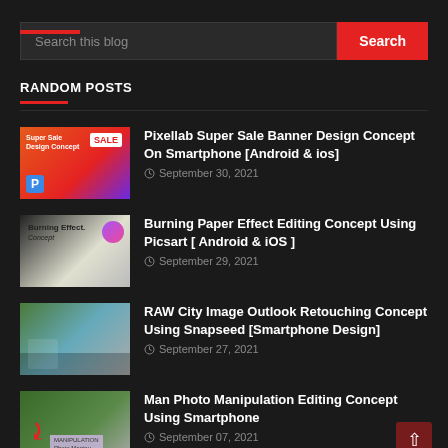[Figure (screenshot): Blog website screenshot with dark theme, search bar, and random posts section]
RANDOM POSTS
Pixellab Super Sale Banner Design Concept On Smartphone [Android & ios] — September 30, 2021
Burning Paper Effect Editing Concept Using Picsart [ Android & iOS ] — September 29, 2021
RAW City Image Outlook Retouching Concept Using Snapseed [Smartphone Design] — September 27, 2021
Man Photo Manipulation Editing Concept Using Smartphone — September 07, 2021